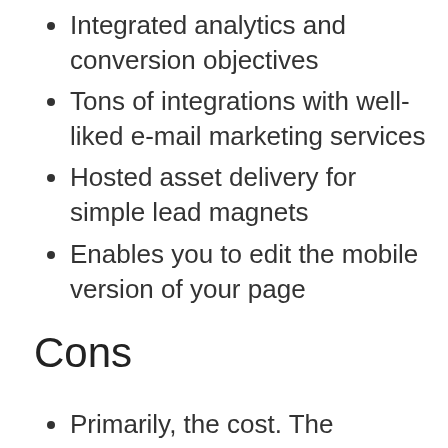Integrated analytics and conversion objectives
Tons of integrations with well-liked e-mail marketing services
Hosted asset delivery for simple lead magnets
Enables you to edit the mobile version of your page
Cons
Primarily, the cost. The functions are exceptional, but they do not come cheap. Casual users may be priced out by the charges.
There's no A/B testing in the least